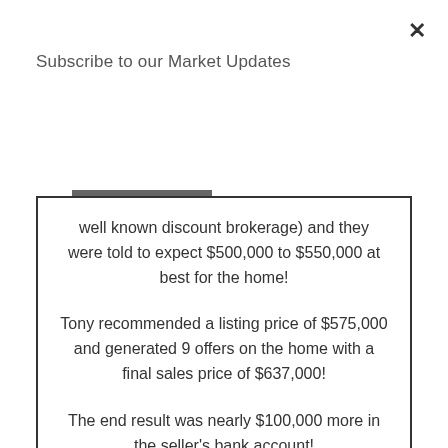Subscribe to our Market Updates
Subscribe
well known discount brokerage) and they were told to expect $500,000 to $550,000 at best for the home!

Tony recommended a listing price of $575,000 and generated 9 offers on the home with a final sales price of $637,000!

The end result was nearly $100,000 more in the seller's bank account!
After meeting with and carefully considering several real estate agents, we chose Tony Meier to help us sell our home.  We